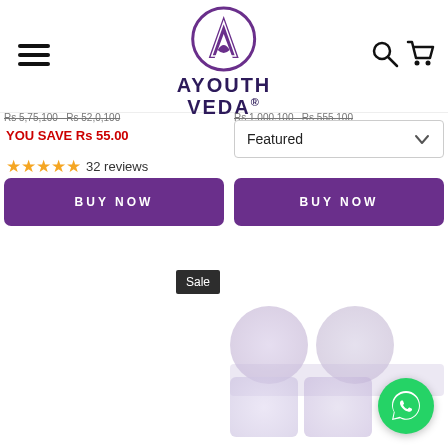[Figure (logo): AYouth Veda brand logo with purple circle emblem and stylized A, text AYOUTH VEDA with registered trademark symbol]
Rs 5,75,100  Rs 52,0,100
Rs 1,000,100  Rs 555,100
YOU SAVE Rs 55.00
Featured
★★★★★ 32 reviews
BUY NOW
BUY NOW
Sale
[Figure (photo): Partially visible product images (blurred circular thumbnails) and bottom product thumbnails]
[Figure (logo): WhatsApp green circle button in bottom right corner]